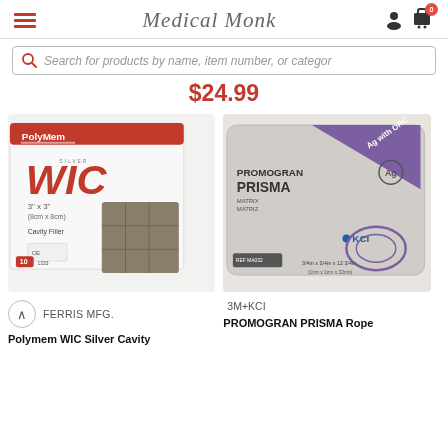Medical Monk — navigation header with hamburger menu, logo, user icon, cart (0)
Search for products by name, item number, or category
$24.99
[Figure (photo): PolyMem WIC Silver 3" x 3" (8cm x 8cm) Cavity Filler wound dressing product box and sample, item 1333, box of 10]
[Figure (photo): PROMOGRAN PRISMA Matrix Ag with ORC rope wound dressing by 3M+KCI, REF MA032, 3/4in x 3/4in x 12 3/4in (1cm x 1cm x 32cm)]
FERRIS MFG.
3M+KCI
Polymem WIC Silver Cavity
PROMOGRAN PRISMA Rope